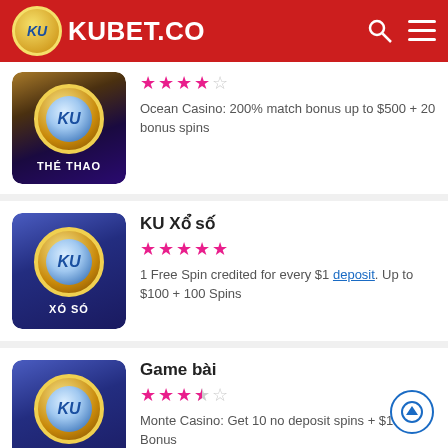KUBET.CO
[Figure (logo): KU Thể Thao card with blue-purple and brown gradient background, gold KU ring logo, label THE THAO. Stars: 4 out of 5. Description: Ocean Casino: 200% match bonus up to $500 + 20 bonus spins]
[Figure (logo): KU Xổ số card with blue gradient background, gold KU ring logo, label XO SO. Stars: 5 out of 5. Title: KU Xổ số. Description: 1 Free Spin credited for every $1 deposit. Up to $100 + 100 Spins]
[Figure (logo): Game bài card with blue gradient background, gold KU ring logo, label GAME BAI. Stars: 3.5 out of 5. Title: Game bài. Description: Monte Casino: Get 10 no deposit spins + $100 Bonus]